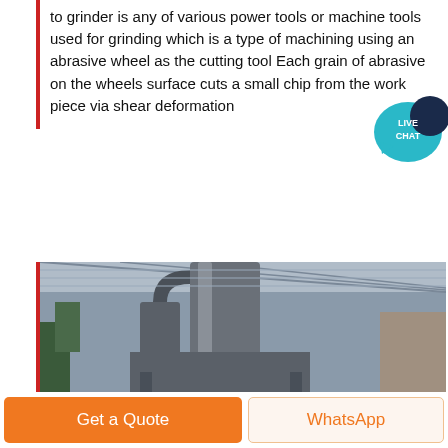to grinder is any of various power tools or machine tools used for grinding which is a type of machining using an abrasive wheel as the cutting tool Each grain of abrasive on the wheels surface cuts a small chip from the work piece via shear deformation
[Figure (illustration): Live Chat speech bubble icon in teal/dark blue with text LIVE CHAT]
Sales Online
[Figure (photo): Industrial grinding machine with large cylindrical components photographed inside a factory/warehouse with corrugated metal roof]
Get a Quote
WhatsApp